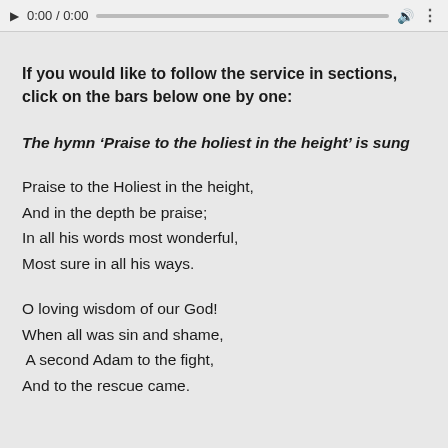0:00 / 0:00
If you would like to follow the service in sections, click on the bars below one by one:
The hymn ‘Praise to the holiest in the height’ is sung
Praise to the Holiest in the height,
And in the depth be praise;
In all his words most wonderful,
Most sure in all his ways.
O loving wisdom of our God!
When all was sin and shame,
 A second Adam to the fight,
And to the rescue came.